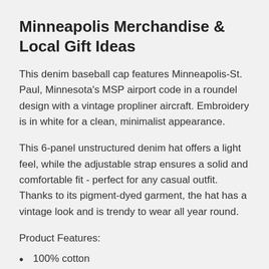Minneapolis Merchandise & Local Gift Ideas
This denim baseball cap features Minneapolis-St. Paul, Minnesota's MSP airport code in a roundel design with a vintage propliner aircraft. Embroidery is in white for a clean, minimalist appearance.
This 6-panel unstructured denim hat offers a light feel, while the adjustable strap ensures a solid and comfortable fit - perfect for any casual outfit. Thanks to its pigment-dyed garment, the hat has a vintage look and is trendy to wear all year round.
Product Features:
100% cotton